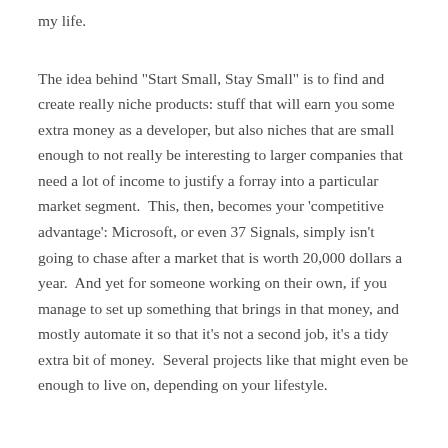my life.
The idea behind "Start Small, Stay Small" is to find and create really niche products: stuff that will earn you some extra money as a developer, but also niches that are small enough to not really be interesting to larger companies that need a lot of income to justify a forray into a particular market segment.  This, then, becomes your 'competitive advantage': Microsoft, or even 37 Signals, simply isn't going to chase after a market that is worth 20,000 dollars a year.  And yet for someone working on their own, if you manage to set up something that brings in that money, and mostly automate it so that it's not a second job, it's a tidy extra bit of money.  Several projects like that might even be enough to live on, depending on your lifestyle.